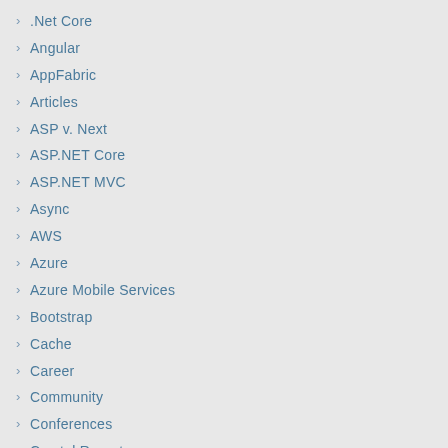.Net Core
Angular
AppFabric
Articles
ASP v. Next
ASP.NET Core
ASP.NET MVC
Async
AWS
Azure
Azure Mobile Services
Bootstrap
Cache
Career
Community
Conferences
Crystal Reports
CSLA
Data
Debugging
Design
Elastic Search
Enterprise Library
Entity Framework
ETW